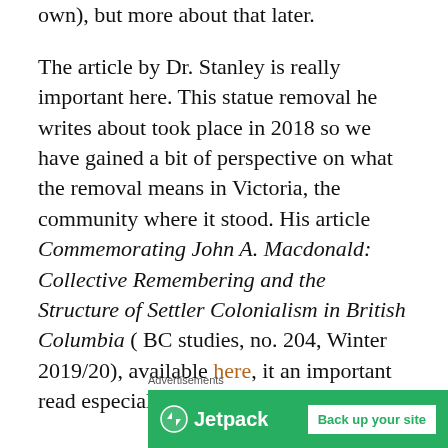own), but more about that later.
The article by Dr. Stanley is really important here. This statue removal he writes about took place in 2018 so we have gained a bit of perspective on what the removal means in Victoria, the community where it stood. His article Commemorating John A. Macdonald: Collective Remembering and the Structure of Settler Colonialism in British Columbia ( BC studies, no. 204, Winter 2019/20), available here, it an important read especially now.
Advertisements
[Figure (other): Jetpack advertisement banner with logo and 'Back up your site' button on green background]